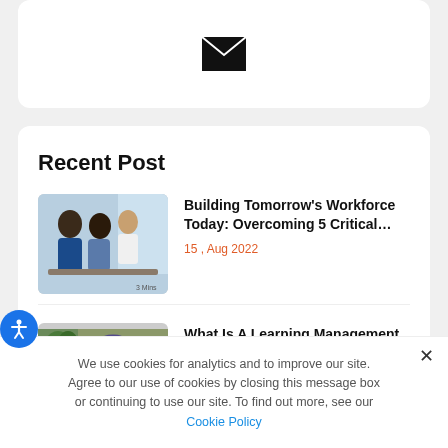[Figure (illustration): Email envelope icon centered in a white card at the top of the page]
Recent Post
[Figure (photo): Group of young people working together in an office-like environment]
Building Tomorrow's Workforce Today: Overcoming 5 Critical…
15 , Aug 2022
[Figure (photo): Young woman wearing headphones and smiling]
What Is A Learning Management System?—Everything You Need …
We use cookies for analytics and to improve our site. Agree to our use of cookies by closing this message box or continuing to use our site. To find out more, see our Cookie Policy